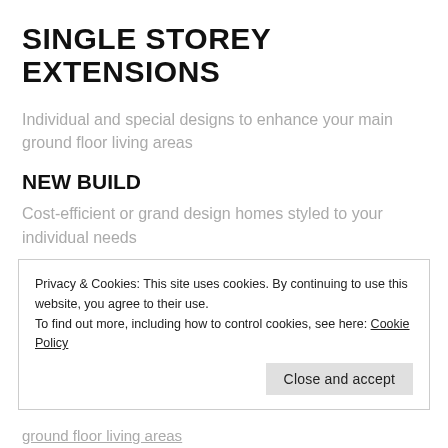SINGLE STOREY EXTENSIONS
Individual and special designs to enhance your main ground floor living areas
NEW BUILD
Cost-efficient or grand design homes styled to your individual needs
LOFT CONVERSIONS
How to turn a dark and filthy loft in to a trendy, light new
Privacy & Cookies: This site uses cookies. By continuing to use this website, you agree to their use.
To find out more, including how to control cookies, see here: Cookie Policy
Close and accept
ground floor living areas